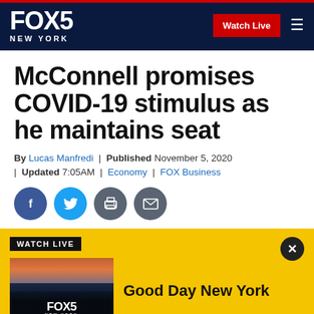FOX 5 NEW YORK — Watch Live
McConnell promises COVID-19 stimulus as he maintains seat
By Lucas Manfredi | Published November 5, 2020 | Updated 7:05AM | Economy | FOX Business
[Figure (screenshot): Social sharing icons: Facebook (blue), Twitter (light blue), Print (gray), Email (gray)]
[Figure (screenshot): Watch Live banner with FOX 5 New York thumbnail and 'Good Day New York' title]